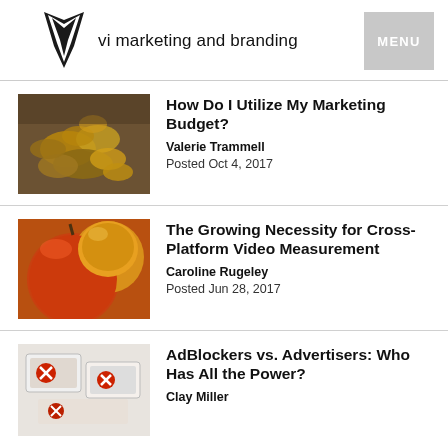vi marketing and branding | MENU
[Figure (photo): Pile of coins, brown tones]
How Do I Utilize My Marketing Budget?
Valerie Trammell
Posted Oct 4, 2017
[Figure (photo): Two red and orange apples close-up]
The Growing Necessity for Cross-Platform Video Measurement
Caroline Rugeley
Posted Jun 28, 2017
[Figure (photo): AdBlocker signs on a screen]
AdBlockers vs. Advertisers: Who Has All the Power?
Clay Miller